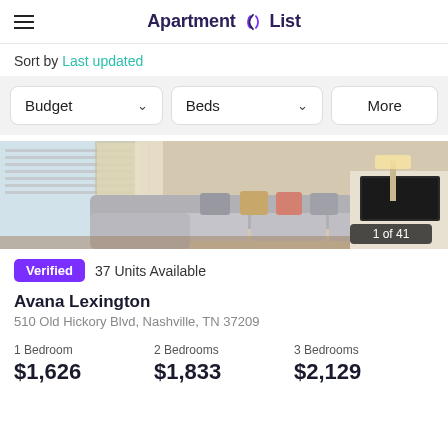Apartment List
Sort by Last updated
Budget   Beds   More
[Figure (photo): Interior photo of an apartment living room with a large gray sectional sofa, colorful throw pillows, sliding glass door with blinds, and a TV stand. Counter badge shows '1 of 41'.]
Verified   37 Units Available
Avana Lexington
510 Old Hickory Blvd, Nashville, TN 37209
1 Bedroom $1,626   2 Bedrooms $1,833   3 Bedrooms $2,129